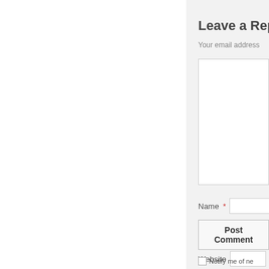Leave a Repl
Your email address
Name *
Email *
Website
Post Comment
Notify me of ne